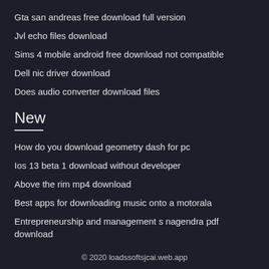Gta san andreas free download full version
Jvl echo files download
Sims 4 mobile android free download not compatible
Dell nic driver download
Does audio converter download files
New
How do you download geometry dash for pc
Ios 13 beta 1 download without developer
Above the rim mp4 download
Best apps for downloading music onto a motorala
Entrepreneurship and management s nagendra pdf download
© 2020 loadssoftsjcai.web.app